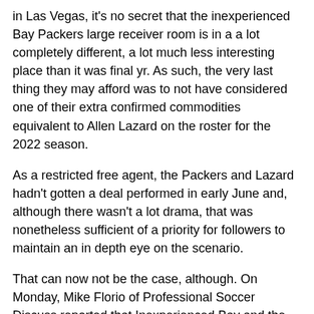in Las Vegas, it's no secret that the inexperienced Bay Packers large receiver room is in a a lot completely different, a lot much less interesting place than it was final yr. As such, the very last thing they may afford was to not have considered one of their extra confirmed commodities equivalent to Allen Lazard on the roster for the 2022 season.
As a restricted free agent, the Packers and Lazard hadn't gotten a deal performed in early June and, although there wasn't a lot drama, that was nonetheless sufficient of a priority for followers to maintain an in depth eye on the scenario.
That can now not be the case, although. On Monday, Mike Florio of Professional Soccer Discuss reported that Inexperienced Bay and the large receiver reached a young settlement for a one-year deal for slightly below $4 million. Lazard then took to Twitter to verify the information and